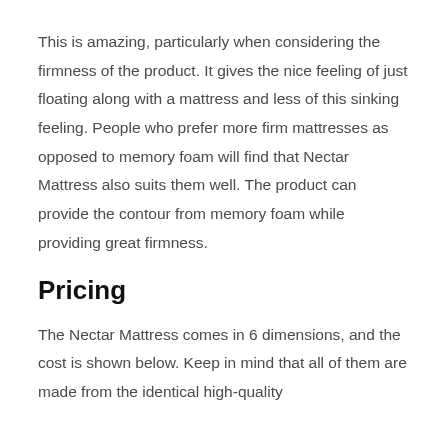This is amazing, particularly when considering the firmness of the product. It gives the nice feeling of just floating along with a mattress and less of this sinking feeling. People who prefer more firm mattresses as opposed to memory foam will find that Nectar Mattress also suits them well. The product can provide the contour from memory foam while providing great firmness.
Pricing
The Nectar Mattress comes in 6 dimensions, and the cost is shown below. Keep in mind that all of them are made from the identical high-quality